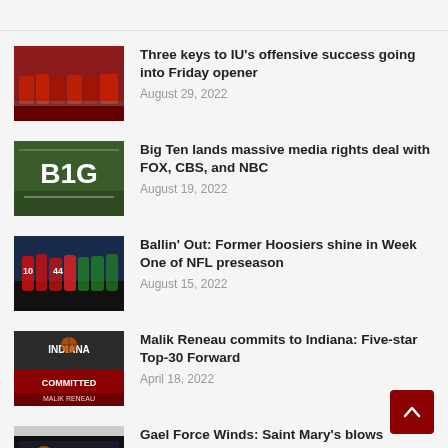Three keys to IU's offensive success going into Friday opener — August 29, 2022
Big Ten lands massive media rights deal with FOX, CBS, and NBC — August 19, 2022
Ballin' Out: Former Hoosiers shine in Week One of NFL preseason — August 15, 2022
Malik Reneau commits to Indiana: Five-star Top-30 Forward — April 18, 2022
Gael Force Winds: Saint Mary's blows Indiana